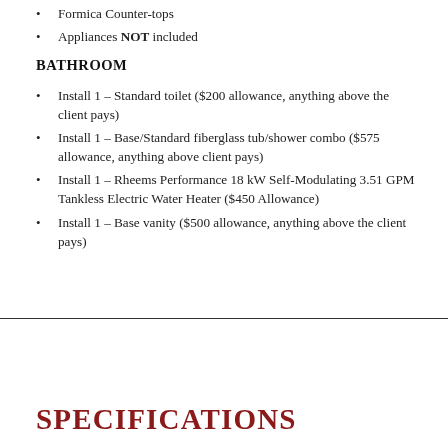Formica Counter-tops
Appliances NOT included
BATHROOM
Install 1 – Standard toilet ($200 allowance, anything above the client pays)
Install 1 – Base/Standard fiberglass tub/shower combo ($575 allowance, anything above client pays)
Install 1 – Rheems Performance 18 kW Self-Modulating 3.51 GPM Tankless Electric Water Heater ($450 Allowance)
Install 1 – Base vanity ($500 allowance, anything above the client pays)
SPECIFICATIONS